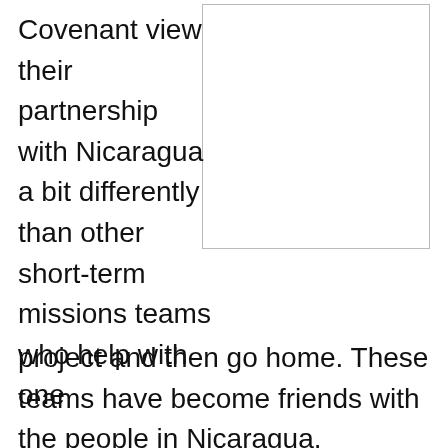Covenant view their partnership with Nicaragua a bit differently than other short-term missions teams who help with one project and then go home. These teams have become friends with the people in Nicaragua.
[Figure (photo): A white rectangular image placeholder with a thin border, positioned in the upper right of the page.]
“It’s not just a place we go,” says Michelle. “These are our friends. We go to support our friends as they reach people for Jesus Christ.”
Recently, one of the Grace Covenant teams